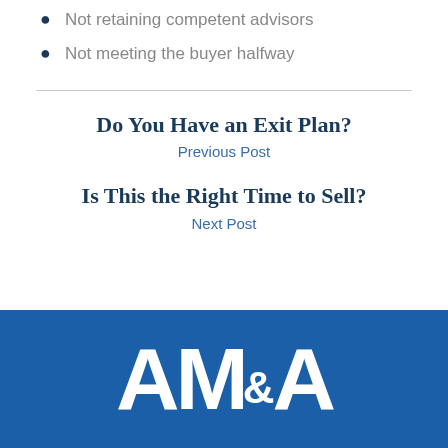Not retaining competent advisors
Not meeting the buyer halfway
Do You Have an Exit Plan?
Previous Post
Is This the Right Time to Sell?
Next Post
[Figure (logo): AM&A logo in white text on a blue background]